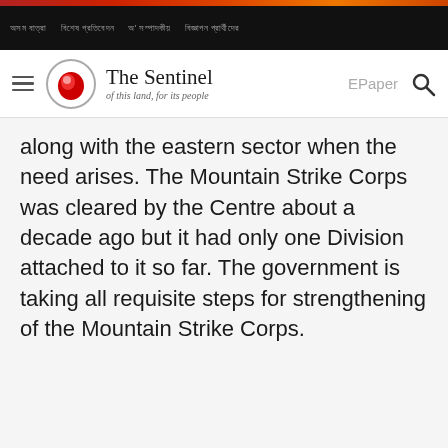The Sentinel — of this land, for its people
along with the eastern sector when the need arises. The Mountain Strike Corps was cleared by the Centre about a decade ago but it had only one Division attached to it so far. The government is taking all requisite steps for strengthening of the Mountain Strike Corps.